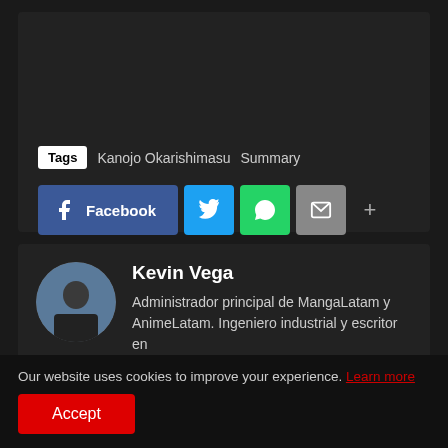Tags  Kanojo Okarishimasu  Summary
Facebook (share button with Twitter, WhatsApp, Email, and more)
Kevin Vega
Administrador principal de MangaLatam y AnimeLatam. Ingeniero industrial y escritor en
Our website uses cookies to improve your experience. Learn more
Accept